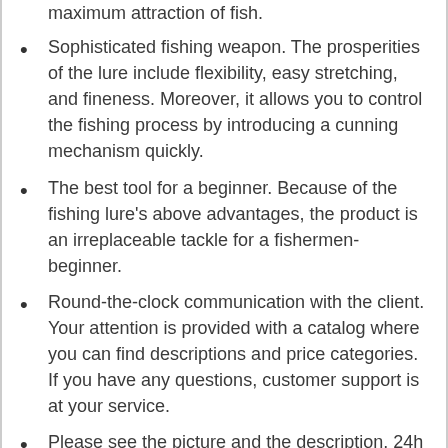maximum attraction of fish.
Sophisticated fishing weapon. The prosperities of the lure include flexibility, easy stretching, and fineness. Moreover, it allows you to control the fishing process by introducing a cunning mechanism quickly.
The best tool for a beginner. Because of the fishing lure's above advantages, the product is an irreplaceable tackle for a fishermen-beginner.
Round-the-clock communication with the client. Your attention is provided with a catalog where you can find descriptions and price categories. If you have any questions, customer support is at your service.
Please see the picture and the description. 24h friendly customer service and email support. If you have any problem, please contact our customer support and we will reply you within 24 hours.